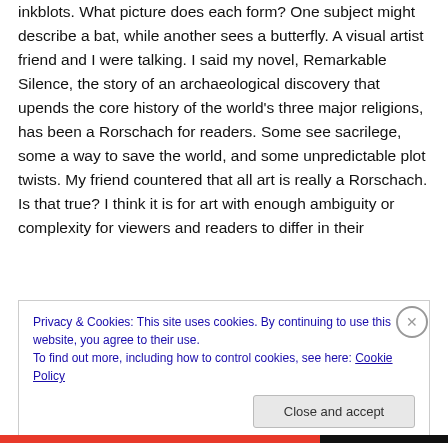inkblots. What picture does each form? One subject might describe a bat, while another sees a butterfly. A visual artist friend and I were talking. I said my novel, Remarkable Silence, the story of an archaeological discovery that upends the core history of the world's three major religions, has been a Rorschach for readers. Some see sacrilege, some a way to save the world, and some unpredictable plot twists. My friend countered that all art is really a Rorschach.
Is that true? I think it is for art with enough ambiguity or complexity for viewers and readers to differ in their
Privacy & Cookies: This site uses cookies. By continuing to use this website, you agree to their use.
To find out more, including how to control cookies, see here: Cookie Policy